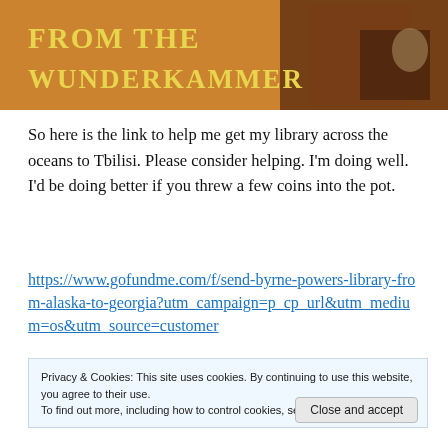[Figure (illustration): Banner image with orange/brown background showing text 'FROM THE WUNDERKAMMER' in stylized yellow uppercase letters, with dark decorative elements on the right side]
So here is the link to help me get my library across the oceans to Tbilisi. Please consider helping. I'm doing well. I'd be doing better if you threw a few coins into the pot.
https://www.gofundme.com/f/send-byrne-powers-library-from-alaska-to-georgia?utm_campaign=p_cp_url&utm_medium=os&utm_source=customer
Privacy & Cookies: This site uses cookies. By continuing to use this website, you agree to their use.
To find out more, including how to control cookies, see here: Cookie Policy
Close and accept